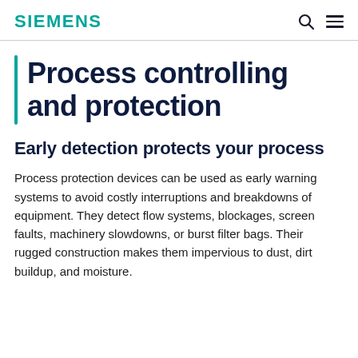SIEMENS
Process controlling and protection
Early detection protects your process
Process protection devices can be used as early warning systems to avoid costly interruptions and breakdowns of equipment. They detect flow systems, blockages, screen faults, machinery slowdowns, or burst filter bags. Their rugged construction makes them impervious to dust, dirt buildup, and moisture.